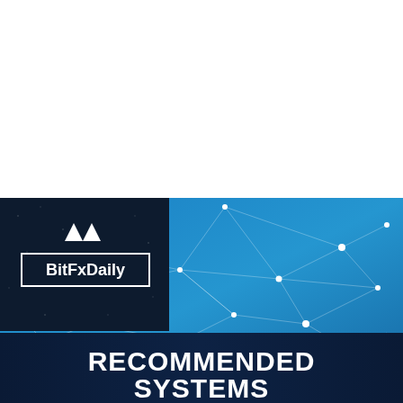[Figure (logo): BitFxDaily branded banner image with network/blockchain geometric background in blue tones. Top-left corner has a dark navy logo box with a triangle-up and triangle-down icon above the text 'BitFxDaily' in a white rectangle border. The lower portion has a dark navy band with bold white text reading 'RECOMMENDED SYSTEMS'.]